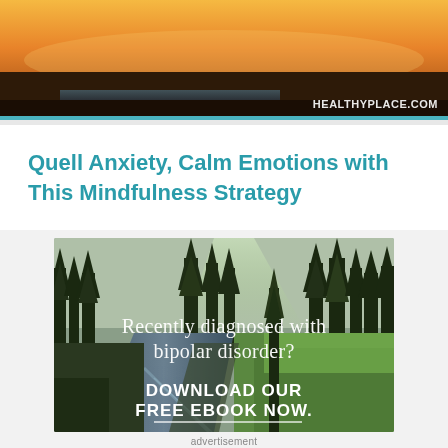[Figure (photo): Top portion of a HealthyPlace.com video or image showing a warm orange/golden sunset sky with dark landscape silhouette, watermark reads HEALTHYPLACE.COM]
Quell Anxiety, Calm Emotions with This Mindfulness Strategy
[Figure (photo): Advertisement banner image showing a forest with evergreen trees and a stream path. Text overlay reads 'Recently diagnosed with bipolar disorder? DOWNLOAD OUR FREE EBOOK NOW.' with a horizontal white underline beneath the CTA text.]
advertisement